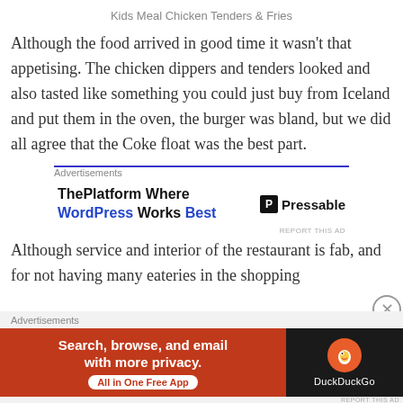Kids Meal Chicken Tenders & Fries
Although the food arrived in good time it wasn't that appetising. The chicken dippers and tenders looked and also tasted like something you could just buy from Iceland and put them in the oven, the burger was bland, but we did all agree that the Coke float was the best part.
[Figure (infographic): Advertisement block with blue top border. Text reads: 'ThePlatform Where WordPress Works Best' with 'WordPress' and 'Best' in blue. Right side shows Pressable logo with 'P' icon and text 'Pressable'. 'REPORT THIS AD' link at bottom right.]
Although service and interior of the restaurant is fab, and for not having many eateries in the shopping
[Figure (infographic): Bottom advertisement banner. Left section is orange/red with white bold text: 'Search, browse, and email with more privacy.' and white pill button 'All in One Free App'. Right section is dark/black with DuckDuckGo duck logo and white text 'DuckDuckGo'.]